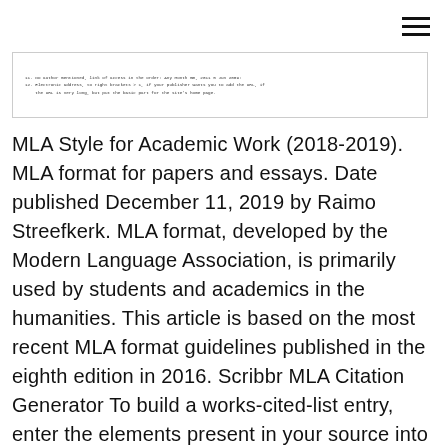≡
[Figure (screenshot): Screenshot of a document page showing numbered list items with citation and URL formatting instructions]
MLA Style for Academic Work (2018-2019). MLA format for papers and essays. Date published December 11, 2019 by Raimo Streefkerk. MLA format, developed by the Modern Language Association, is primarily used by students and academics in the humanities. This article is based on the most recent MLA format guidelines published in the eighth edition in 2016. Scribbr MLA Citation Generator To build a works-cited-list entry, enter the elements present in your source into the template. You must include any necessary punctuation.